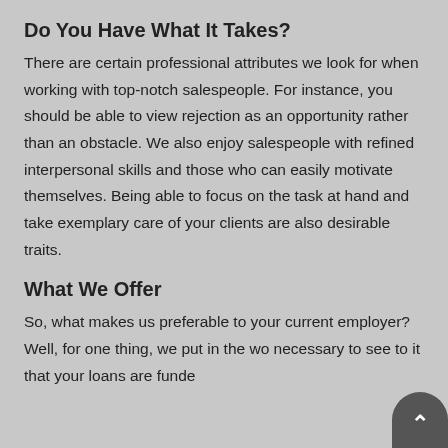Do You Have What It Takes?
There are certain professional attributes we look for when working with top-notch salespeople. For instance, you should be able to view rejection as an opportunity rather than an obstacle. We also enjoy salespeople with refined interpersonal skills and those who can easily motivate themselves. Being able to focus on the task at hand and take exemplary care of your clients are also desirable traits.
What We Offer
So, what makes us preferable to your current employer? Well, for one thing, we put in the wo necessary to see to it that your loans are funde